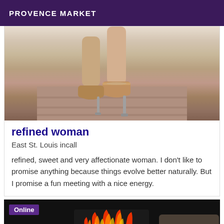PROVENCE MARKET
[Figure (photo): Close-up photo of a woman's legs wearing high heel stiletto shoes, standing on a tiled floor with white cabinetry in the background.]
refined woman
East St. Louis incall
refined, sweet and very affectionate woman. I don't like to promise anything because things evolve better naturally. But I promise a fun meeting with a nice energy.
[Figure (photo): Dark photo of a person wearing a black shirt with flame graphic text, partially visible, with 'Online' badge in the top left corner.]